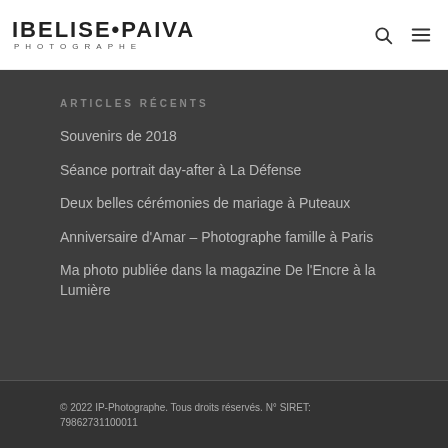[Figure (logo): IBELISE•PAIVA PHOTOGRAPHE logo in black text]
ARTICLES RÉCENTS
Souvenirs de 2018
Séance portrait day-after à La Défense
Deux belles cérémonies de mariage à Puteaux
Anniversaire d'Amar – Photographe famille à Paris
Ma photo publiée dans la magazine De l'Encre à la Lumière
© 2022 IP-Photographe. Tous droits réservés. N° SIRET: 79862731100011